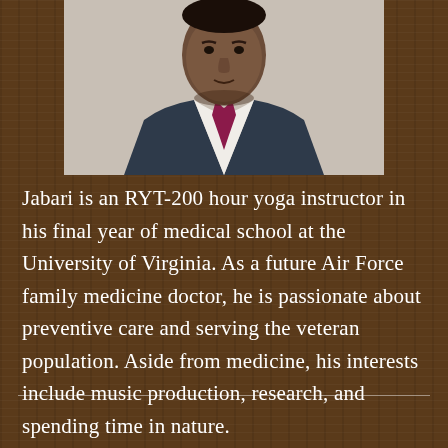[Figure (photo): Headshot of a man in a suit and tie (dark jacket, white shirt, maroon/burgundy tie), cropped at the chest, against a neutral background.]
Jabari is an RYT-200 hour yoga instructor in his final year of medical school at the University of Virginia. As a future Air Force family medicine doctor, he is passionate about preventive care and serving the veteran population. Aside from medicine, his interests include music production, research, and spending time in nature.